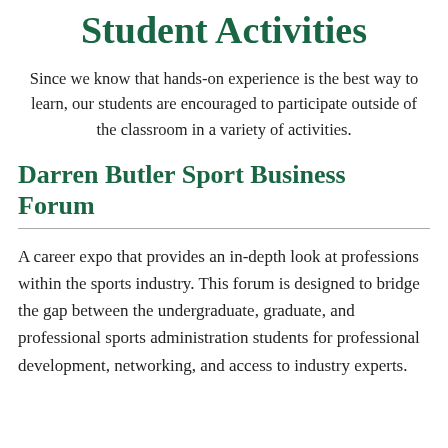Student Activities
Since we know that hands-on experience is the best way to learn, our students are encouraged to participate outside of the classroom in a variety of activities.
Darren Butler Sport Business Forum
A career expo that provides an in-depth look at professions within the sports industry. This forum is designed to bridge the gap between the undergraduate, graduate, and professional sports administration students for professional development, networking, and access to industry experts.